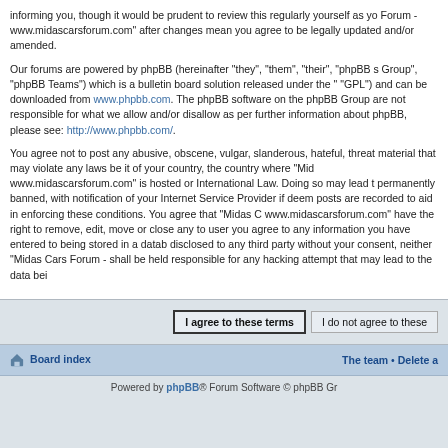informing you, though it would be prudent to review this regularly yourself as yo Forum - www.midascarsforum.com" after changes mean you agree to be legally updated and/or amended.
Our forums are powered by phpBB (hereinafter "they", "them", "their", "phpBB s Group", "phpBB Teams") which is a bulletin board solution released under the " "GPL") and can be downloaded from www.phpbb.com. The phpBB software on the phpBB Group are not responsible for what we allow and/or disallow as per further information about phpBB, please see: http://www.phpbb.com/.
You agree not to post any abusive, obscene, vulgar, slanderous, hateful, threa material that may violate any laws be it of your country, the country where "Mid www.midascarsforum.com" is hosted or International Law. Doing so may lead t permanently banned, with notification of your Internet Service Provider if deem posts are recorded to aid in enforcing these conditions. You agree that "Midas C www.midascarsforum.com" have the right to remove, edit, move or close any to user you agree to any information you have entered to being stored in a datab disclosed to any third party without your consent, neither "Midas Cars Forum - shall be held responsible for any hacking attempt that may lead to the data bei
I agree to these terms | I do not agree to these
Board index | The team • Delete a
Powered by phpBB® Forum Software © phpBB Gr